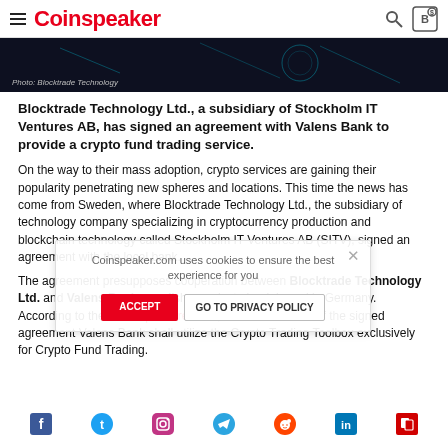Coinspeaker
[Figure (photo): Dark background image strip with caption 'Photo: Blocktrade Technology']
Photo: Blocktrade Technology
Blocktrade Technology Ltd., a subsidiary of Stockholm IT Ventures AB, has signed an agreement with Valens Bank to provide a crypto fund trading service.
On the way to their mass adoption, crypto services are gaining their popularity penetrating new spheres and locations. This time the news has come from Sweden, where Blocktrade Technology Ltd., the subsidiary of technology company specializing in cryptocurrency production and blockchain technology called Stockholm IT Ventures AB (SITV), signed an agreement with the local bank.
The agreement presupposes cooperation between Blocktrade Technology Ltd. and Valens Bank, an offshore private bank based in Germany. According to the official press release, in the framework of the signed agreement Valens Bank shall utilize the Crypto Trading Toolbox exclusively for Crypto Fund Trading.